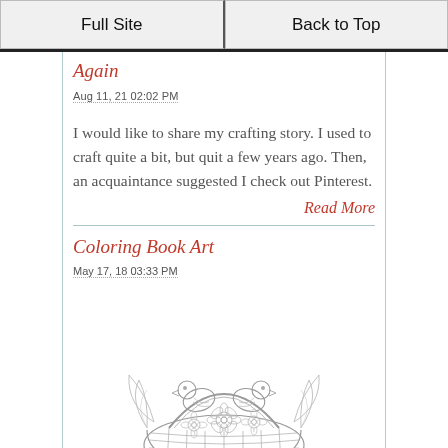Full Site | Back to Top
Again
Aug 11, 21 02:02 PM
I would like to share my crafting story. I used to craft quite a bit, but quit a few years ago. Then, an acquaintance suggested I check out Pinterest.
Read More
Coloring Book Art
May 17, 18 03:33 PM
[Figure (illustration): Black and white coloring book style illustration of two birds in a floral basket with flowers and leaves]